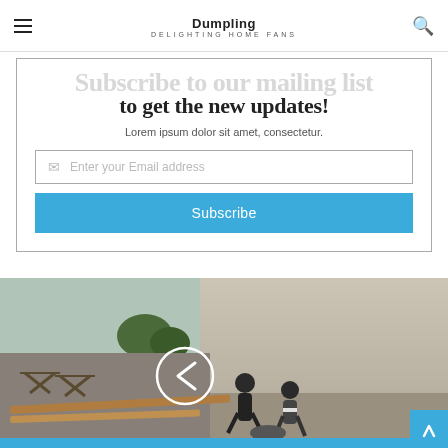Dumpling DELIGHTING HOME FANS
Subscribe to our mailing list to get the new updates!
Lorem ipsum dolor sit amet, consectetur.
Enter your Email address
Subscribe
[Figure (photo): Construction workers working with wooden boards/lumber in a concrete structure, with trees and sky in background. Navigation arrow circle overlay visible.]